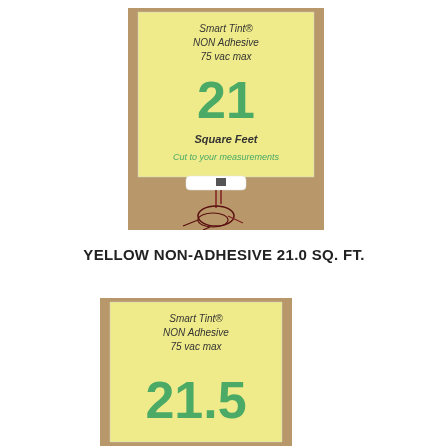[Figure (photo): Product packaging showing Smart Tint NON Adhesive 75 vac max label on yellow card with brown cardboard backing, wires coiled at bottom. Label shows number 21, Square Feet, Cut to your measurements.]
YELLOW NON-ADHESIVE 21.0 SQ. FT.
[Figure (photo): Partial product packaging showing Smart Tint NON Adhesive 75 vac max label on yellow card. Label shows number 21.5.]